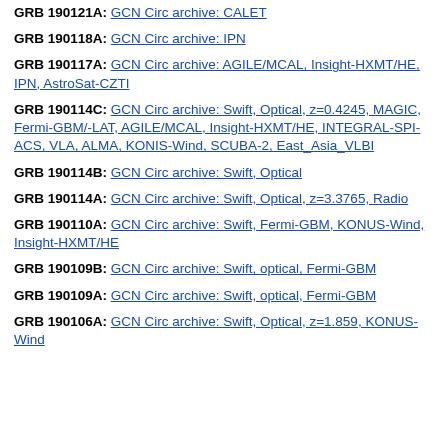GRB 190121A: GCN Circ archive: CALET
GRB 190118A: GCN Circ archive: IPN
GRB 190117A: GCN Circ archive: AGILE/MCAL, Insight-HXMT/HE, IPN, AstroSat-CZTI
GRB 190114C: GCN Circ archive: Swift, Optical, z=0.4245, MAGIC, Fermi-GBM/-LAT, AGILE/MCAL, Insight-HXMT/HE, INTEGRAL-SPI-ACS, VLA, ALMA, KONIS-Wind, SCUBA-2, East_Asia_VLBI
GRB 190114B: GCN Circ archive: Swift, Optical
GRB 190114A: GCN Circ archive: Swift, Optical, z=3.3765, Radio
GRB 190110A: GCN Circ archive: Swift, Fermi-GBM, KONUS-Wind, Insight-HXMT/HE
GRB 190109B: GCN Circ archive: Swift, optical, Fermi-GBM
GRB 190109A: GCN Circ archive: Swift, optical, Fermi-GBM
GRB 190106A: GCN Circ archive: Swift, Optical, z=1.859, KONUS-Wind